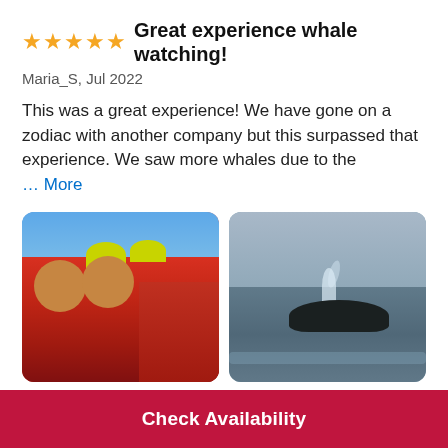Great experience whale watching!
Maria_S, Jul 2022
This was a great experience! We have gone on a zodiac with another company but this surpassed that experience. We saw more whales due to the … More
[Figure (photo): Selfie of three people in red survival suits and colorful hats against a blue sky]
[Figure (photo): A whale surfacing in the ocean with a water spout, under cloudy skies]
Response from Host, Jul 2022
Check Availability